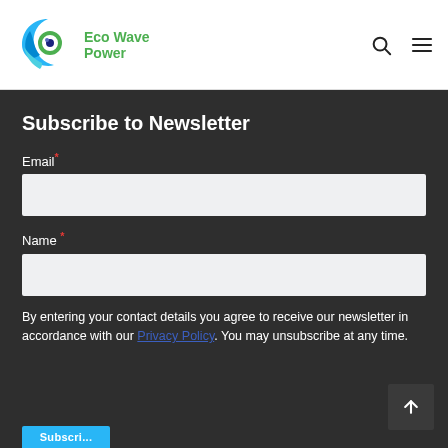[Figure (logo): Eco Wave Power logo — blue wave/eye circular icon with green text 'Eco Wave Power']
Eco Wave Power — navigation header with search and menu icons
Subscribe to Newsletter
Email*
Name*
By entering your contact details you agree to receive our newsletter in accordance with our Privacy Policy. You may unsubscribe at any time.